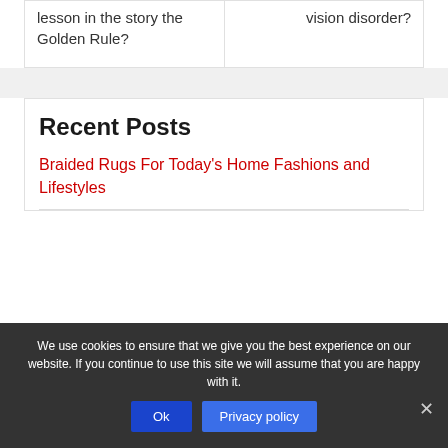lesson in the story the Golden Rule?
vision disorder?
Recent Posts
Braided Rugs For Today's Home Fashions and Lifestyles
We use cookies to ensure that we give you the best experience on our website. If you continue to use this site we will assume that you are happy with it.
Ok
Privacy policy